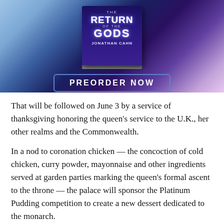[Figure (illustration): Book cover advertisement for 'The Return of the Gods' by Jonathan Cahn with a 'PREORDER NOW' button below the book image against a cosmic/mystical background.]
That will be followed on June 3 by a service of thanksgiving honoring the queen's service to the U.K., her other realms and the Commonwealth.
In a nod to coronation chicken — the concoction of cold chicken, curry powder, mayonnaise and other ingredients served at garden parties marking the queen's formal ascent to the throne — the palace will sponsor the Platinum Pudding competition to create a new dessert dedicated to the monarch.
The competition will be open to U.K. residents as young as 8 and will be judged by television cooking personalities Mary Berry and Monica Galetti, together with Buckingham Palace head chef Mark Flanagan. The winning recipe will be published